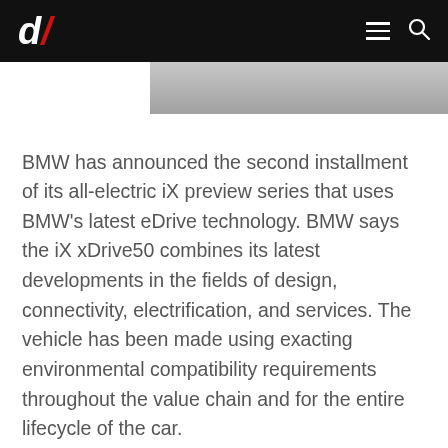d/ [logo] [hamburger menu] [search icon]
[Figure (photo): Partial photograph of a BMW vehicle, cropped at top of page]
BMW has announced the second installment of its all-electric iX preview series that uses BMW's latest eDrive technology. BMW says the iX xDrive50 combines its latest developments in the fields of design, connectivity, electrification, and services. The vehicle has been made using exacting environmental compatibility requirements throughout the value chain and for the entire lifecycle of the car.
It was produced using closely